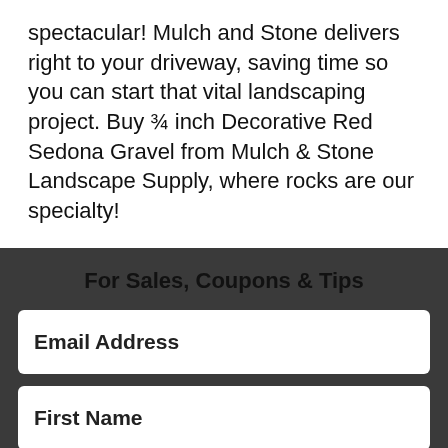spectacular!  Mulch and Stone delivers right to your driveway, saving time so you can start that vital landscaping project. Buy ¾ inch Decorative Red Sedona Gravel from Mulch & Stone Landscape Supply, where rocks are our specialty!
For Sales, Coupons & Tips
Email Address
First Name